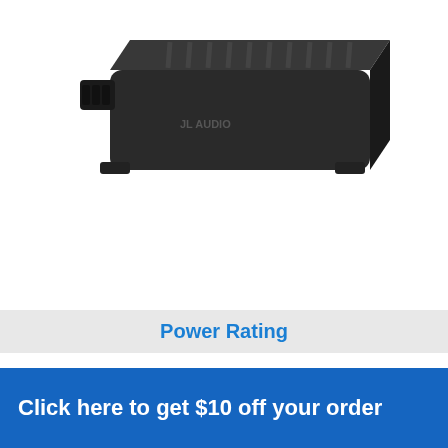[Figure (photo): Product photo of a black rectangular car amplifier with ribbed heat sink fins on top, viewed from a three-quarter angle against a white background.]
Power Rating
50Wx4 @ 4 Ohms
70Wx4 @ 2 Ohms
Dimensions
Click here to get $10 off your order